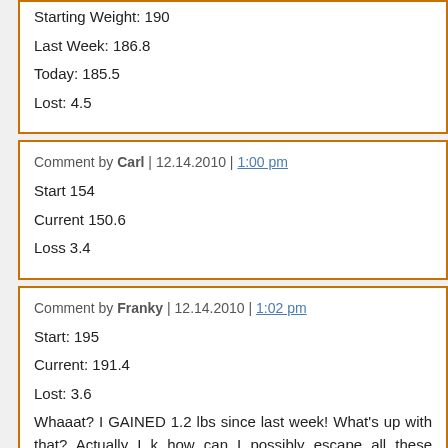Starting Weight: 190
Last Week: 186.8
Today: 185.5
Lost: 4.5
Comment by Carl | 12.14.2010 | 1:00 pm
Start 154
Current 150.6
Loss 3.4
Comment by Franky | 12.14.2010 | 1:02 pm
Start: 195
Current: 191.4
Lost: 3.6
Whaaat? I GAINED 1.2 lbs since last week! What's up with that? Actually I k how can I possibly escape all these sneaky cookies and chocolates tha everywhere I go?
Comment by Beans Baxter | 12.14.2010 | 1:02 pm